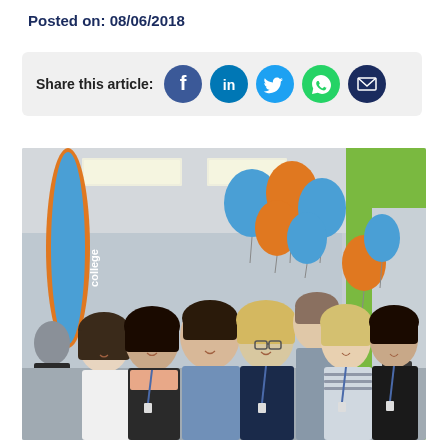Posted on: 08/06/2018
Share this article:
[Figure (photo): Group photo of seven people standing together indoors at what appears to be a college open day or event. Blue and orange balloons are visible in the background, along with a college branded banner/flag on the left and a green wall on the right. The people are smiling at the camera.]